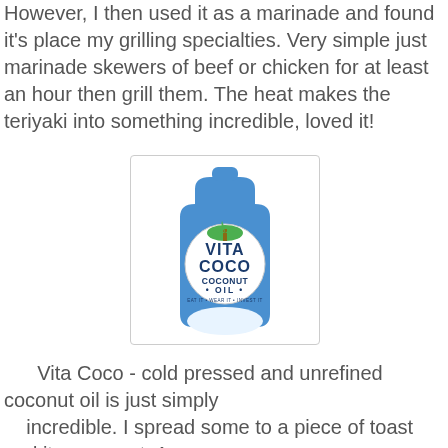However, I then used it as a marinade and found it's place my grilling specialties.  Very simple just marinade skewers of beef or chicken for at least an hour then grill them.  The heat makes the teriyaki into something incredible, loved it!
[Figure (photo): Vita Coco Coconut Oil product bottle — a blue squeeze/pouch-style bottle with the Vita Coco logo and 'COCONUT OIL' text on a white circular label, shown against a white background inside a light grey bordered frame.]
Vita Coco - cold pressed and unrefined coconut oil is just simply
       incredible.  I spread some to a piece of toast and it was great.  A
       bit sweet with just the right hint coconut.  Also put some on my...